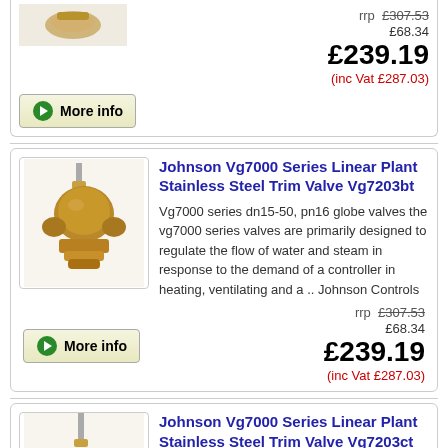[Figure (photo): Partial product image at top of page, brass valve component]
[Figure (other): More info button with green arrow]
rrp £307.53
£68.34
£239.19
(inc Vat £287.03)
[Figure (photo): Johnson Vg7000 Series brass globe valve product photo]
Johnson Vg7000 Series Linear Plant Stainless Steel Trim Valve Vg7203bt
Vg7000 series dn15-50, pn16 globe valves the vg7000 series valves are primarily designed to regulate the flow of water and steam in response to the demand of a controller in heating, ventilating and a .. Johnson Controls
[Figure (other): More info button with green arrow]
rrp £307.53
£68.34
£239.19
(inc Vat £287.03)
[Figure (photo): Partial product image at bottom, Johnson Vg7000 valve]
Johnson Vg7000 Series Linear Plant Stainless Steel Trim Valve Vg7203ct